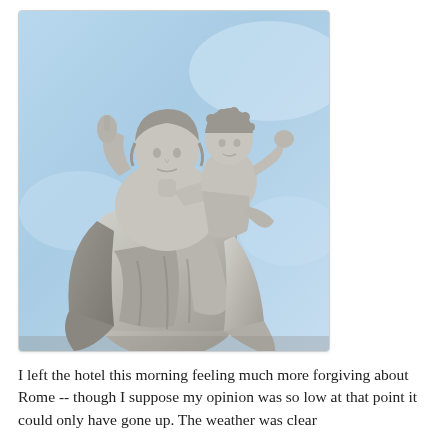[Figure (photo): A stone/marble statue of the Virgin Mary holding the Christ child. The statue is photographed against a bright blue sky. The woman figure has flowing robes and her hair is styled. The child figure raises one hand. The statues are weathered grey stone.]
I left the hotel this morning feeling much more forgiving about Rome -- though I suppose my opinion was so low at that point it could only have gone up. The weather was clear